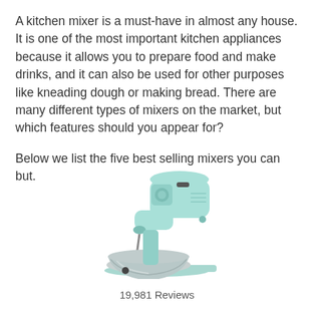A kitchen mixer is a must-have in almost any house. It is one of the most important kitchen appliances because it allows you to prepare food and make drinks, and it can also be used for other purposes like kneading dough or making bread. There are many different types of mixers on the market, but which features should you appear for?

Below we list the five best selling mixers you can but.
[Figure (photo): A mint/aqua colored stand kitchen mixer with a stainless steel mixing bowl, viewed from a slight angle.]
19,981 Reviews